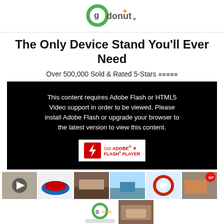[Figure (logo): godonut logo with stylized green donut ring and text]
The Only Device Stand You'll Ever Need
Over 500,000 Sold & Rated 5-Stars ⭐⭐⭐⭐⭐
[Figure (screenshot): Black video placeholder area with message: This content requires Adobe Flash or HTML5 Video support in order to be viewed. Please install Adobe Flash or upgrade your browser to the latest version to view this content. Contains Adobe Flash Player download button.]
[Figure (photo): Row of 6 product thumbnail images showing godonut device stand from various angles]
[Figure (photo): Two additional thumbnail images in a second row]